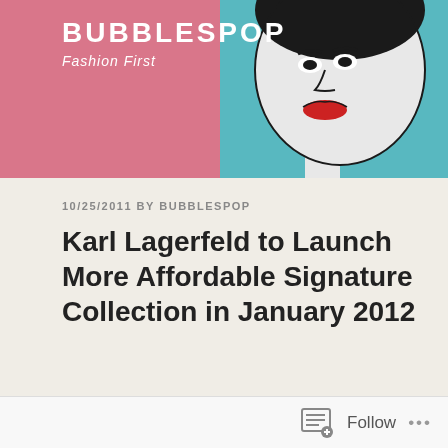[Figure (illustration): Blog header banner with pink and teal/cyan background. Left side is pink/rose color, right side is teal/cyan. A stylized pop-art illustration of a woman's face (black and white with red lips) is visible on the right portion. The blog name BUBBLESPOP and tagline 'Fashion First' are displayed on the left in white text.]
BUBBLESPOP
Fashion First
10/25/2011 BY BUBBLESPOP
Karl Lagerfeld to Launch More Affordable Signature Collection in January 2012
Spoke to you guys briefly about this yesterday but here are more details. Karl Lagerfeld, who stopped showing his signature collection on the runway in September 2010, will be back in January with two new signature lines.
Follow ...